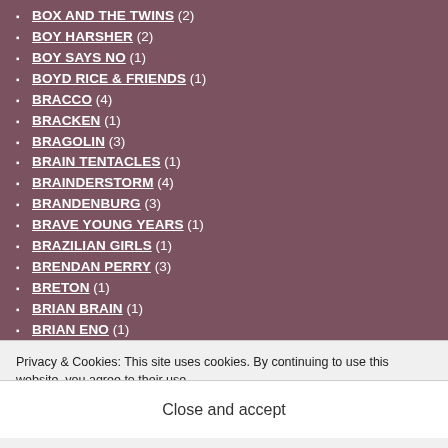BOX AND THE TWINS (2)
BOY HARSHER (2)
BOY SAYS NO (1)
BOYD RICE & FRIENDS (1)
BRACCO (4)
BRACKEN (1)
BRAGOLIN (3)
BRAIN TENTACLES (1)
BRAINDERSTORM (4)
BRANDENBURG (3)
BRAVE YOUNG YEARS (1)
BRAZILIAN GIRLS (1)
BRENDAN PERRY (3)
BRETON (1)
BRIAN BRAIN (1)
BRIAN ENO (1)
Privacy & Cookies: This site uses cookies. By continuing to use this website, you agree to their use. To find out more, including how to control cookies, see here: Cookie Policy
Close and accept